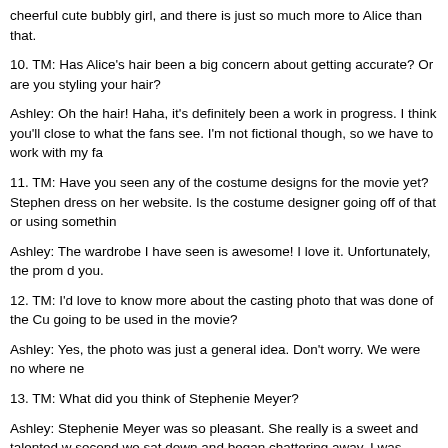cheerful cute bubbly girl, and there is just so much more to Alice than that.
10. TM: Has Alice's hair been a big concern about getting accurate? Or are you styling your hair?
Ashley: Oh the hair! Haha, it's definitely been a work in progress. I think you'll close to what the fans see. I'm not fictional though, so we have to work with my fa
11. TM: Have you seen any of the costume designs for the movie yet? Stephen dress on her website. Is the costume designer going off of that or using somethin
Ashley: The wardrobe I have seen is awesome! I love it. Unfortunately, the prom d you.
12. TM: I'd love to know more about the casting photo that was done of the Cu going to be used in the movie?
Ashley: Yes, the photo was just a general idea. Don't worry. We were no where ne
13. TM: What did you think of Stephenie Meyer?
Ashley: Stephenie Meyer was so pleasant. She really is a sweet and talented w second we sat down and began chattering away, I was completely comfortable. I'
14. TM: In what ways are you like Alice? How are you different?
Ashley: Well, physically, there are a few differences. At this point I think we all kn